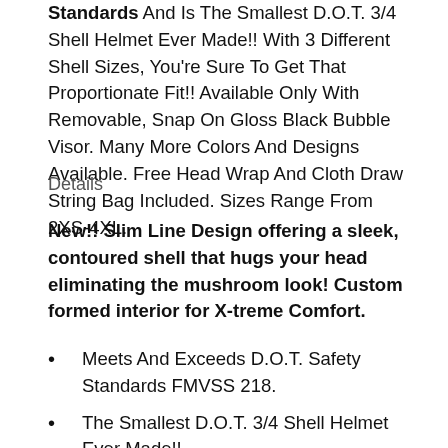Standards And Is The Smallest D.O.T. 3/4 Shell Helmet Ever Made!! With 3 Different Shell Sizes, You're Sure To Get That Proportionate Fit!! Available Only With Removable, Snap On Gloss Black Bubble Visor. Many More Colors And Designs Available. Free Head Wrap And Cloth Draw String Bag Included. Sizes Range From 2XS-4XL.
Details
New!! Slim Line Design offering a sleek, contoured shell that hugs your head eliminating the mushroom look! Custom formed interior for X-treme Comfort.
Meets And Exceeds D.O.T. Safety Standards FMVSS 218.
The Smallest D.O.T. 3/4 Shell Helmet Ever Made!!